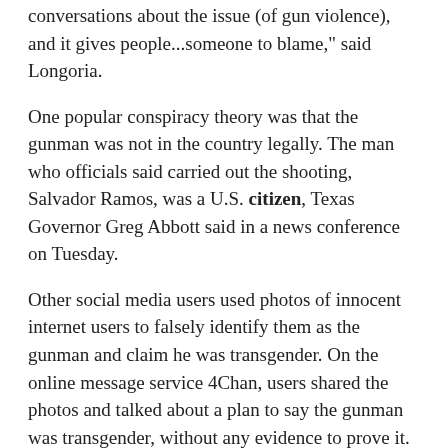conversations about the issue (of gun violence), and it gives people...someone to blame," said Longoria.
One popular conspiracy theory was that the gunman was not in the country legally. The man who officials said carried out the shooting, Salvador Ramos, was a U.S. citizen, Texas Governor Greg Abbott said in a news conference on Tuesday.
Other social media users used photos of innocent internet users to falsely identify them as the gunman and claim he was transgender. On the online message service 4Chan, users shared the photos and talked about a plan to say the gunman was transgender, without any evidence to prove it.
Horrifying experience